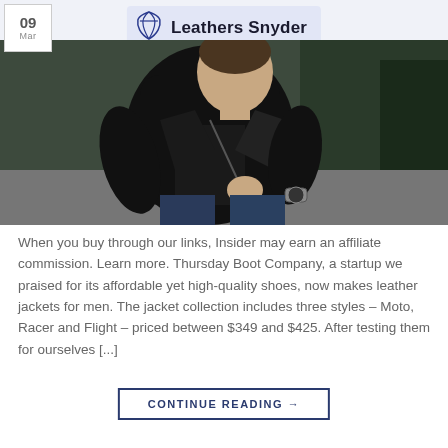Leathers Snyder
[Figure (photo): Man wearing a black leather motorcycle jacket, seated, looking down, wearing jeans and a watch. Urban outdoor setting.]
When you buy through our links, Insider may earn an affiliate commission. Learn more. Thursday Boot Company, a startup we praised for its affordable yet high-quality shoes, now makes leather jackets for men. The jacket collection includes three styles – Moto, Racer and Flight – priced between $349 and $425. After testing them for ourselves [...]
CONTINUE READING →